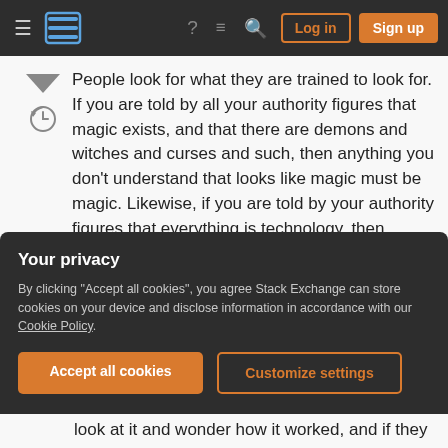Stack Exchange navigation bar with hamburger menu, logo, help, chat, search icons, Log in and Sign up buttons
People look for what they are trained to look for. If you are told by all your authority figures that magic exists, and that there are demons and witches and curses and such, then anything you don't understand that looks like magic must be magic. Likewise, if you are told by your authority figures that everything is technology, then anything you don't understand must be some unknown advanced tech.
Your privacy
By clicking "Accept all cookies", you agree Stack Exchange can store cookies on your device and disclose information in accordance with our Cookie Policy.
Accept all cookies  Customize settings
look at it and wonder how it worked, and if they